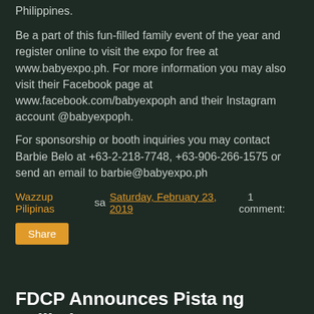Philippines.
Be a part of this fun-filled family event of the year and register online to visit the expo for free at www.babyexpo.ph. For more information you may also visit their Facebook page at www.facebook.com/babyexpoph and their Instagram account @babyexpoph.
For sponsorship or booth inquiries you may contact Barbie Belo at +63-2-218-7748, +63-906-266-1575 or send an email to barbie@babyexpo.ph
Wazzup Pilipinas sa Saturday, February 23, 2019   1 comment:
Share
FDCP Announces Pista ng Pelikulang Pilipino 3 Mechanics